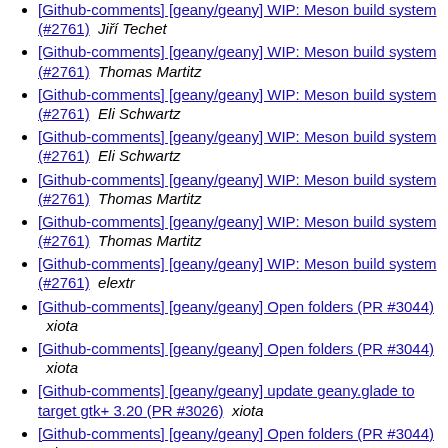[Github-comments] [geany/geany] WIP: Meson build system (#2761)  Jiří Techet
[Github-comments] [geany/geany] WIP: Meson build system (#2761)  Thomas Martitz
[Github-comments] [geany/geany] WIP: Meson build system (#2761)  Eli Schwartz
[Github-comments] [geany/geany] WIP: Meson build system (#2761)  Eli Schwartz
[Github-comments] [geany/geany] WIP: Meson build system (#2761)  Thomas Martitz
[Github-comments] [geany/geany] WIP: Meson build system (#2761)  Thomas Martitz
[Github-comments] [geany/geany] WIP: Meson build system (#2761)  elextr
[Github-comments] [geany/geany] Open folders (PR #3044)  xiota
[Github-comments] [geany/geany] Open folders (PR #3044)  xiota
[Github-comments] [geany/geany] update geany.glade to target gtk+ 3.20 (PR #3026)  xiota
[Github-comments] [geany/geany] Open folders (PR #3044)  xiota
[Github-comments] [geany/geany] Open folders (PR #3044)  xiota
[Github-comments] [geany/geany-plugins] pop-up/drop-down of struct members doesn't work on right side when